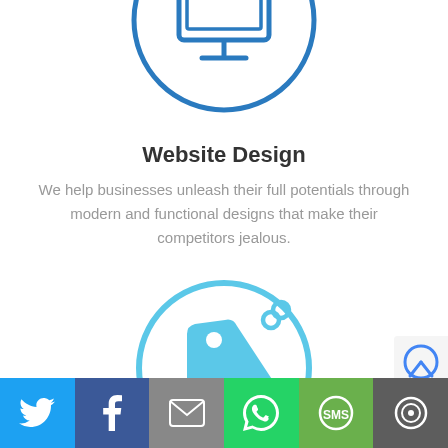[Figure (illustration): Blue outline icon of a desktop monitor/computer screen inside a circle, partially cropped at top]
Website Design
We help businesses unleash their full potentials through modern and functional designs that make their competitors jealous.
[Figure (illustration): Light blue SEO price tag icon with chain link inside a light blue circle]
SEO
[Figure (infographic): Social share bar with Twitter, Facebook, Email, WhatsApp, SMS, and Viber buttons]